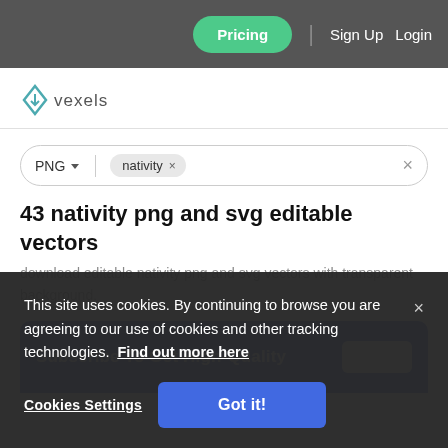Pricing | Sign Up | Login
[Figure (logo): Vexels logo with diamond icon and text 'vexels']
PNG ▾  nativity ×
43 nativity png and svg editable vectors
download editable nativity png and svg vectors with transparent background.
Subscribe To Get High-Quality
This site uses cookies. By continuing to browse you are agreeing to our use of cookies and other tracking technologies. Find out more here
Cookies Settings
Got it!